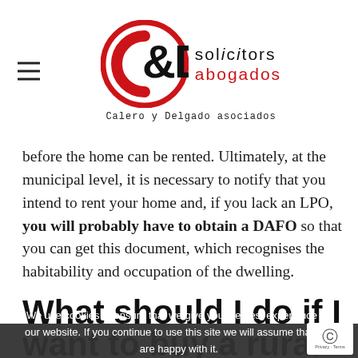[Figure (logo): C&D Solicitors Abogados – Calero y Delgado asociados logo with red circle monogram]
before the home can be rented. Ultimately, at the municipal level, it is necessary to notify that you intend to rent your home and, if you lack an LPO, you will probably have to obtain a DAFO so that you can get this document, which recognises the habitability and occupation of the dwelling.
What should I do if I want to buy a rural home?
We use cookies to ensure that we give you the best experience on our website. If you continue to use this site we will assume that you are happy with it.
You can select the one you like best, without fears or